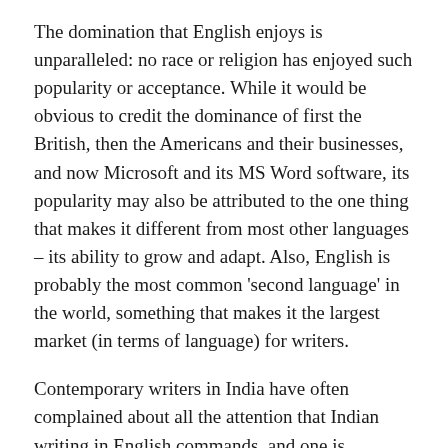The domination that English enjoys is unparalleled: no race or religion has enjoyed such popularity or acceptance. While it would be obvious to credit the dominance of first the British, then the Americans and their businesses, and now Microsoft and its MS Word software, its popularity may also be attributed to the one thing that makes it different from most other languages – its ability to grow and adapt. Also, English is probably the most common 'second language' in the world, something that makes it the largest market (in terms of language) for writers.
Contemporary writers in India have often complained about all the attention that Indian writing in English commands, and one is reminded of Rushdie's selections for The Vintage Book of Indian Writing: 1947–1997 that was the cause for much criticism because it included but one translated story – the incisive Toba Tek Singh by Manto. While a large number of people speak and read English